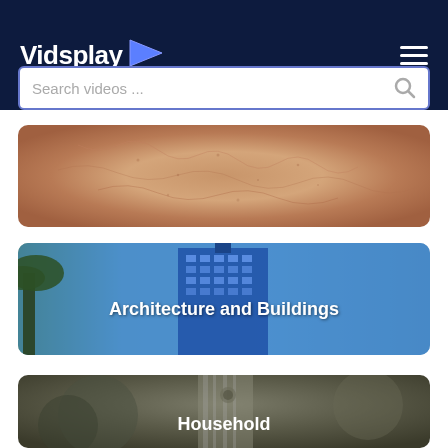Vidsplay
[Figure (screenshot): Search bar with placeholder text 'Search videos ...' and a search icon on dark navy background]
[Figure (photo): Close-up macro photo of human skin texture, showing pores and fine details]
[Figure (photo): Architecture and Buildings category card showing tall modern skyscraper with palm tree against blue sky, labeled 'Architecture and Buildings']
[Figure (photo): Household category card showing close-up of a metal tool/device, labeled 'Household']